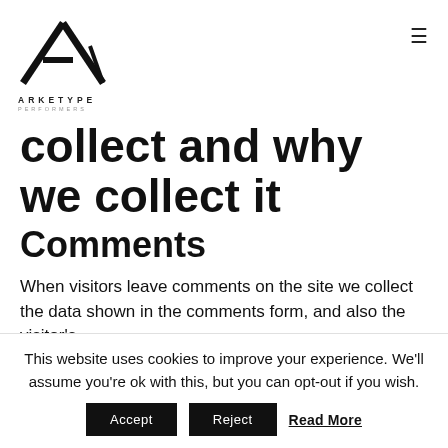[Figure (logo): Arketype Performers logo with stylized A letterform and wordmark]
collect and why we collect it
Comments
When visitors leave comments on the site we collect the data shown in the comments form, and also the visitor's
This website uses cookies to improve your experience. We'll assume you're ok with this, but you can opt-out if you wish. Accept Reject Read More